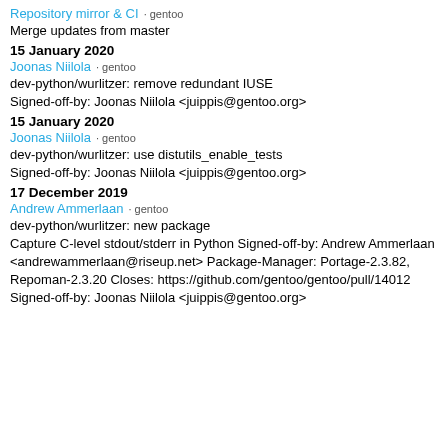Repository mirror & CI · gentoo
Merge updates from master
15 January 2020
Joonas Niilola · gentoo
dev-python/wurlitzer: remove redundant IUSE
Signed-off-by: Joonas Niilola <juippis@gentoo.org>
15 January 2020
Joonas Niilola · gentoo
dev-python/wurlitzer: use distutils_enable_tests
Signed-off-by: Joonas Niilola <juippis@gentoo.org>
17 December 2019
Andrew Ammerlaan · gentoo
dev-python/wurlitzer: new package
Capture C-level stdout/stderr in Python Signed-off-by: Andrew Ammerlaan <andrewammerlaan@riseup.net> Package-Manager: Portage-2.3.82, Repoman-2.3.20 Closes: https://github.com/gentoo/gentoo/pull/14012 Signed-off-by: Joonas Niilola <juippis@gentoo.org>